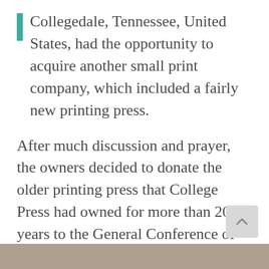Collegedale, Tennessee, United States, had the opportunity to acquire another small print company, which included a fairly new printing press.
After much discussion and prayer, the owners decided to donate the older printing press that College Press had owned for more than 20 years to the General Conference of the Seventh-day Adventist Church. Fisher and Howell knew of many needs around the world for printing presses but decided to let the General Conference decide where this press would fit best.
[Figure (photo): Partial image visible at the very bottom of the page, likely a photograph related to the printing press or church.]